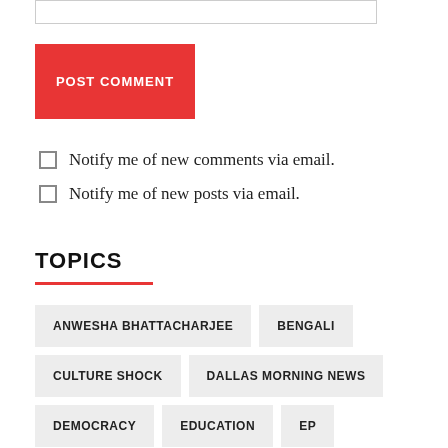[input box]
POST COMMENT
Notify me of new comments via email.
Notify me of new posts via email.
TOPICS
ANWESHA BHATTACHARJEE
BENGALI
CULTURE SHOCK
DALLAS MORNING NEWS
DEMOCRACY
EDUCATION
EP